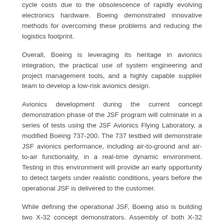cycle costs due to the obsolescence of rapidly evolving electronics hardware. Boeing demonstrated innovative methods for overcoming these problems and reducing the logistics footprint.
Overall, Boeing is leveraging its heritage in avionics integration, the practical use of system engineering and project management tools, and a highly capable supplier team to develop a low-risk avionics design.
Avionics development during the current concept demonstration phase of the JSF program will culminate in a series of tests using the JSF Avionics Flying Laboratory, a modified Boeing 737-200. The 737 testbed will demonstrate JSF avionics performance, including air-to-ground and air-to-air functionality, in a real-time dynamic environment. Testing in this environment will provide an early opportunity to detect targets under realistic conditions, years before the operational JSF is delivered to the customer.
While defining the operational JSF, Boeing also is building two X-32 concept demonstrators. Assembly of both X-32 aircraft is ahead of schedule and on cost. The X-32 aircraft will be used to meet three primary objectives: 1) demonstrate commonality across the variants as well as commonality of design/build processes; 2) demonstrate the Boeing concept for short takeoff/vertical landing, propulsion, hover and transition modes;